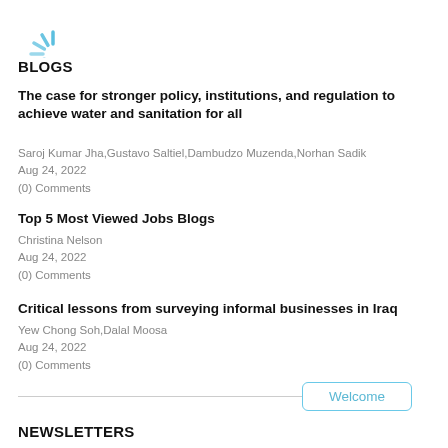[Figure (logo): Light blue loading spinner / decorative radial lines icon in top-left corner]
BLOGS
The case for stronger policy, institutions, and regulation to achieve water and sanitation for all
Saroj Kumar Jha,Gustavo Saltiel,Dambudzo Muzenda,Norhan Sadik
Aug 24, 2022
(0) Comments
Top 5 Most Viewed Jobs Blogs
Christina Nelson
Aug 24, 2022
(0) Comments
Critical lessons from surveying informal businesses in Iraq
Yew Chong Soh,Dalal Moosa
Aug 24, 2022
(0) Comments
Welcome
NEWSLETTERS